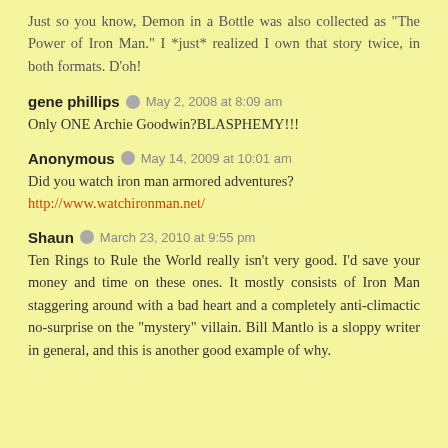Just so you know, Demon in a Bottle was also collected as "The Power of Iron Man." I *just* realized I own that story twice, in both formats. D'oh!
gene phillips · May 2, 2008 at 8:09 am
Only ONE Archie Goodwin?BLASPHEMY!!!
Anonymous · May 14, 2009 at 10:01 am
Did you watch iron man armored adventures?
http://www.watchironman.net/
Shaun · March 23, 2010 at 9:55 pm
Ten Rings to Rule the World really isn't very good. I'd save your money and time on these ones. It mostly consists of Iron Man staggering around with a bad heart and a completely anti-climactic no-surprise on the "mystery" villain. Bill Mantlo is a sloppy writer in general, and this is another good example of why.